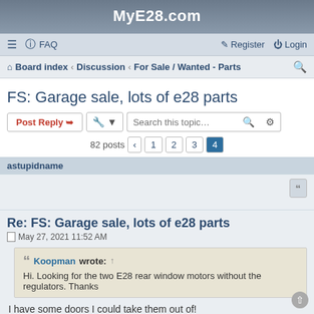MyE28.com
≡  FAQ  Register  Login
Board index · Discussion · For Sale / Wanted - Parts
FS: Garage sale, lots of e28 parts
Post Reply  [tools]  Search this topic...
82 posts  < 1 2 3 4
astupidname
Re: FS: Garage sale, lots of e28 parts
May 27, 2021 11:52 AM
Koopman wrote: ↑
Hi. Looking for the two E28 rear window motors without the regulators. Thanks
I have some doors I could take them out of!